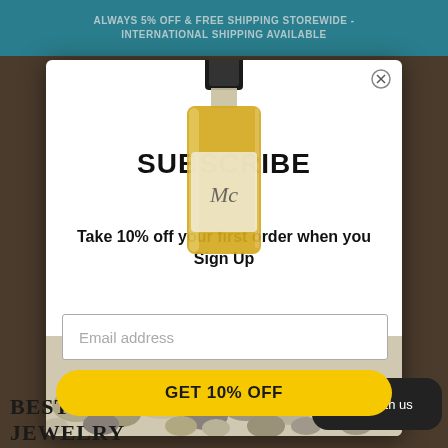ALWAYS 5% OFF & FREE SHIPPING STOREWIDE - INTERNATIONAL SHIPPING AVAILABLE
[Figure (screenshot): Subscribe popup modal with a bottle of oil/fragrance, email signup form, and GET 10% OFF button on a white background overlaying a dark jewelry store background]
SUBSCRIBE
Take 10% off your first order when you Sign Up
Email address
GET 10% OFF
Chat with us
BEST SELLING JEWELRY